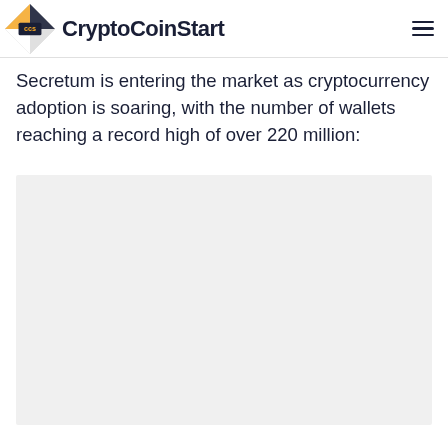CryptoCoinStart
Secretum is entering the market as cryptocurrency adoption is soaring, with the number of wallets reaching a record high of over 220 million:
[Figure (other): Large placeholder/image area with light gray background, approximately 670x600 in original proportions, clipped at bottom of page.]